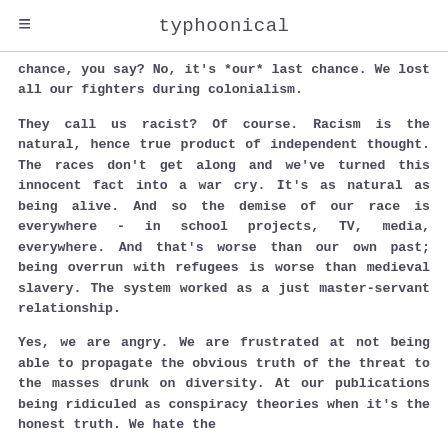typhoonical
chance, you say? No, it's *our* last chance. We lost all our fighters during colonialism.
They call us racist? Of course. Racism is the natural, hence true product of independent thought. The races don't get along and we've turned this innocent fact into a war cry. It's as natural as being alive. And so the demise of our race is everywhere - in school projects, TV, media, everywhere. And that's worse than our own past; being overrun with refugees is worse than medieval slavery. The system worked as a just master-servant relationship.
Yes, we are angry. We are frustrated at not being able to propagate the obvious truth of the threat to the masses drunk on diversity. At our publications being ridiculed as conspiracy theories when it's the honest truth. We hate the